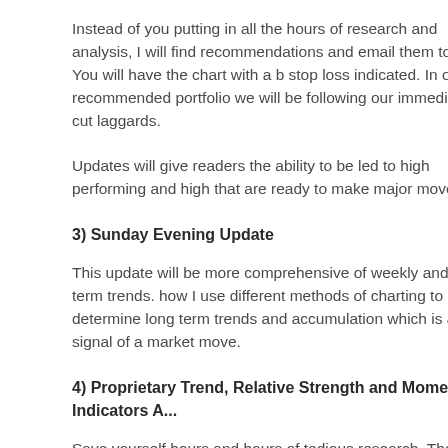Instead of you putting in all the hours of research and analysis, I will find recommendations and email them to you. You will have the chart with a buy stop loss indicated. In our recommended portfolio we will be following our immediately cut laggards.
Updates will give readers the ability to be led to high performing and high that are ready to make major moves.
3) Sunday Evening Update
This update will be more comprehensive of weekly and long term trends. how I use different methods of charting to determine long term trends and accumulation which is a signal of a market move.
4) Proprietary Trend, Relative Strength and Momentum Indicators A...
Save yourself hours and hours of tedious research. These proven technic the leading winners in the market and will lead you to the best investmen
5) Track Record of Proven Gains
Proven ability to find the leading stocks of the year which helps the avera